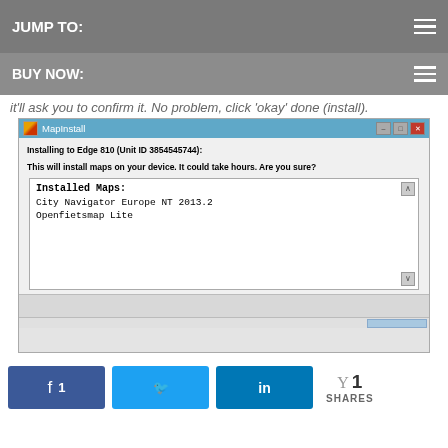JUMP TO:
BUY NOW:
it'll ask you to confirm it. No problem, click 'okay' done (install).
[Figure (screenshot): MapInstall Windows dialog showing 'Installing to Edge 810 (Unit ID 3854545744):' with warning 'This will install maps on your device. It could take hours. Are you sure?' and a list box showing Installed Maps: City Navigator Europe NT 2013.2 and Openfietsmap Lite]
1
SHARES